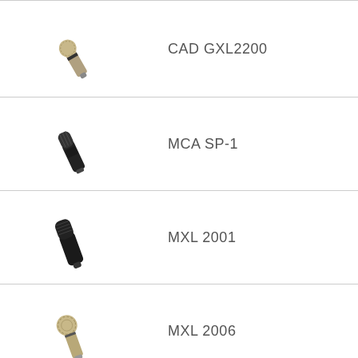[Figure (photo): CAD GXL2200 microphone - silver/gold large diaphragm condenser mic tilted at angle]
CAD GXL2200
[Figure (photo): MCA SP-1 microphone - black dynamic microphone tilted at angle]
MCA SP-1
[Figure (photo): MXL 2001 microphone - black large diaphragm condenser microphone]
MXL 2001
[Figure (photo): MXL 2006 microphone - silver/gold large diaphragm condenser microphone]
MXL 2006
[Figure (photo): Partially visible microphone at bottom of page]